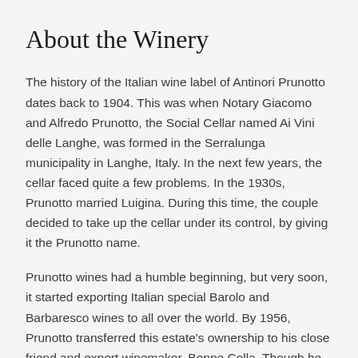About the Winery
The history of the Italian wine label of Antinori Prunotto dates back to 1904. This was when Notary Giacomo and Alfredo Prunotto, the Social Cellar named Ai Vini delle Langhe, was formed in the Serralunga municipality in Langhe, Italy. In the next few years, the cellar faced quite a few problems. In the 1930s, Prunotto married Luigina. During this time, the couple decided to take up the cellar under its control, by giving it the Prunotto name.
Prunotto wines had a humble beginning, but very soon, it started exporting Italian special Barolo and Barbaresco wines to all over the world. By 1956, Prunotto transferred this estate's ownership to his close friend and expert winemaker, Beppe Colla. Though he retired from his winemaking business, Prunotto was always on the lookout for areas that could be used exclusively for vinifying the Crus (like the Barolo Bussia).  This estate got a new winery in 1972, and it